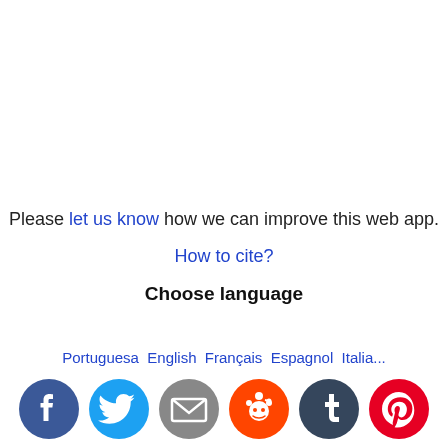Please let us know how we can improve this web app.
How to cite?
Choose language
Portuguese English Français Espagnol Italia...
[Figure (other): Social sharing icons row: Facebook, Twitter, Email, Reddit, Tumblr, Pinterest]